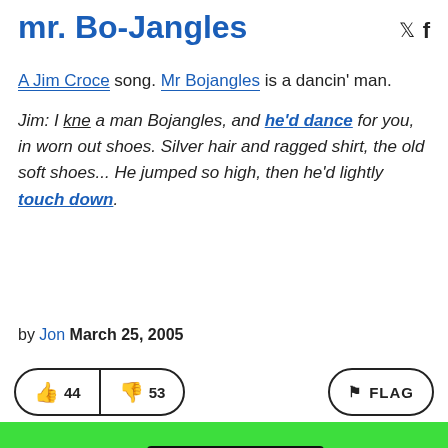mr. Bo-Jangles
A Jim Croce song. Mr Bojangles is a dancin' man.
Jim: I kne a man Bojangles, and he'd dance for you, in worn out shoes. Silver hair and ragged shirt, the old soft shoes... He jumped so high, then he'd lightly touch down.
by Jon March 25, 2005
👍 44  👎 53  FLAG
Get the mr. Bo-Jangles mug.